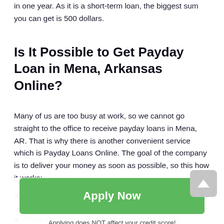in one year. As it is a short-term loan, the biggest sum you can get is 500 dollars.
Is It Possible to Get Payday Loan in Mena, Arkansas Online?
Many of us are too busy at work, so we cannot go straight to the office to receive payday loans in Mena, AR. That is why there is another convenient service which is Payday Loans Online. The goal of the company is to deliver your money as soon as possible, so this how it works:
You are to complete an easy application which will take you around five minutes.
Then, you are to wait for the answer. It will take just a few minutes.
[Figure (other): Green 'Apply Now' button with text 'Applying does NOT affect your credit score! No credit check to apply.']